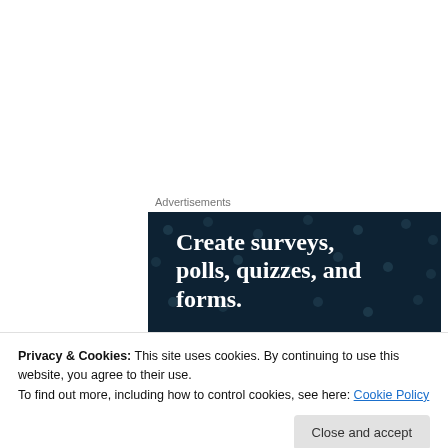Advertisements
[Figure (illustration): Advertisement banner with dark navy background and dot pattern. Large white serif text reads 'Create surveys, polls, quizzes, and forms.' with a pink/magenta 'Start now' button and a circular Crown logo in the bottom right corner.]
Privacy & Cookies: This site uses cookies. By continuing to use this website, you agree to their use.
To find out more, including how to control cookies, see here: Cookie Policy
Close and accept
2016, and I love it